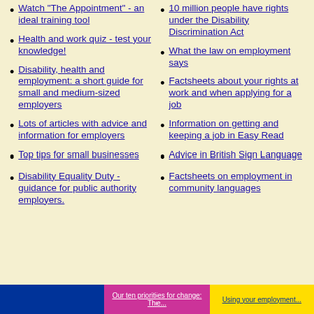Watch "The Appointment" - an ideal training tool
Health and work quiz - test your knowledge!
Disability, health and employment: a short guide for small and medium-sized employers
Lots of articles with advice and information for employers
Top tips for small businesses
Disability Equality Duty - guidance for public authority employers.
10 million people have rights under the Disability Discrimination Act
What the law on employment says
Factsheets about your rights at work and when applying for a job
Information on getting and keeping a job in Easy Read
Advice in British Sign Language
Factsheets on employment in community languages
[Figure (other): Three banner images at the bottom of the page: a blue image, a pink image with text 'Our ten priorities for change: The...', and a yellow image with text 'Using your employment...']